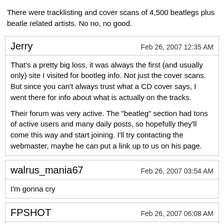There were tracklisting and cover scans of 4,500 beatlegs plus beatle related artists. No no, no good.
Jerry
Feb 26, 2007 12:35 AM
That's a pretty big loss, it was always the first (and usually only) site I visited for bootleg info. Not just the cover scans. But since you can't always trust what a CD cover says, I went there for info about what is actually on the tracks.

Their forum was very active. The "beatleg" section had tons of active users and many daily posts, so hopefully they'll come this way and start joining. I'll try contacting the webmaster, maybe he can put a link up to us on his page.
walrus_mania67
Feb 26, 2007 03:54 AM
I'm gonna cry
FPSHOT
Feb 26, 2007 06:08 AM
Quote:
Originally Posted by Anonymous/Post #5445: